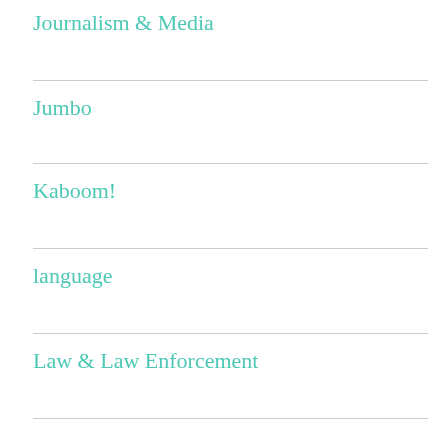Journalism & Media
Jumbo
Kaboom!
language
Law & Law Enforcement
Leadership
Literature